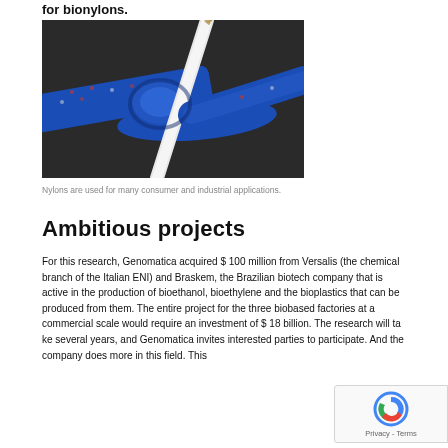for bionylons.
[Figure (photo): Close-up photograph of a knot tied with two ropes — a thick blue braided rope with red and white flecks, and a thinner white/cream braided rope — against a dark background.]
Nylons are used for many consumer and industrial applications.
Ambitious projects
For this research, Genomatica acquired $ 100 million from Versalis (the chemical branch of the Italian ENI) and Braskem, the Brazilian biotech company that is active in the production of bioethanol, bioethylene and the bioplastics that can be produced from them. The entire project for the three biobased factories at a commercial scale would require an investment of $ 18 billion. The research will take several years, and Genomatica invites interested parties to participate. And the company does more in this field. This